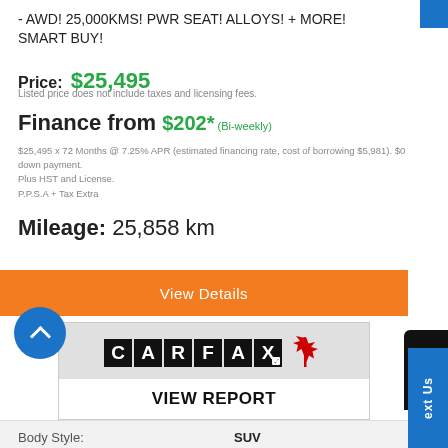- AWD! 25,000KMS! PWR SEAT! ALLOYS! + MORE! SMART BUY!
Price: $25,495
Listed price does not include taxes and licensing fees.
Finance from $202* (Bi-weekly)
$25,495 x 72 Months @ 7.25% APR (estimated financing rate, cost of borrowing $5,981). $0 down payment.
Plus HST and License.
P.P.S.A + Tax Extra
Mileage: 25,858 km
View Details
[Figure (logo): CARFAX Canada logo with maple leaf]
VIEW REPORT
|  |  |
| --- | --- |
| Body Style: | SUV |
| Engine: | N/A |
| Exterior Colour: | Grey |